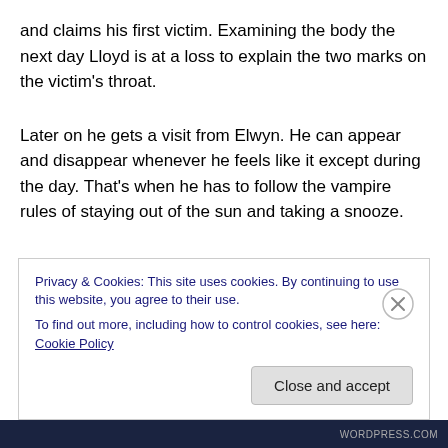and claims his first victim. Examining the body the next day Lloyd is at a loss to explain the two marks on the victim's throat.
Later on he gets a visit from Elwyn. He can appear and disappear whenever he feels like it except during the day. That's when he has to follow the vampire rules of staying out of the sun and taking a snooze.
Privacy & Cookies: This site uses cookies. By continuing to use this website, you agree to their use.
To find out more, including how to control cookies, see here: Cookie Policy